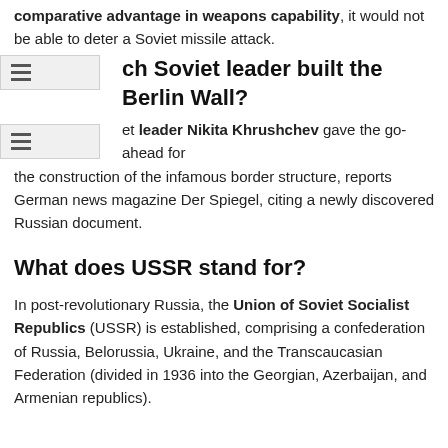comparative advantage in weapons capability, it would not be able to deter a Soviet missile attack.
Which Soviet leader built the Berlin Wall?
Soviet leader Nikita Khrushchev gave the go-ahead for the construction of the infamous border structure, reports German news magazine Der Spiegel, citing a newly discovered Russian document.
What does USSR stand for?
In post-revolutionary Russia, the Union of Soviet Socialist Republics (USSR) is established, comprising a confederation of Russia, Belorussia, Ukraine, and the Transcaucasian Federation (divided in 1936 into the Georgian, Azerbaijan, and Armenian republics).